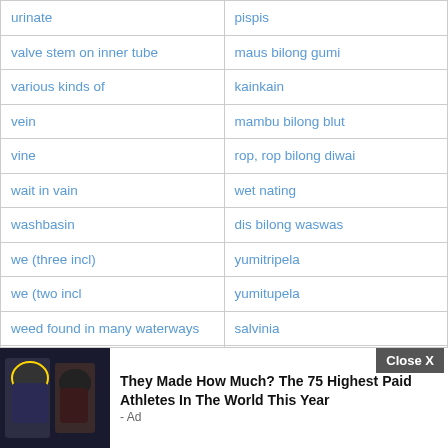| English | Tok Pisin |
| --- | --- |
| urinate | pispis |
| valve stem on inner tube | maus bilong gumi |
| various kinds of | kainkain |
| vein | mambu bilong blut |
| vine | rop, rop bilong diwai |
| wait in vain | wet nating |
| washbasin | dis bilong waswas |
| we (three incl) | yumitripela |
| we (two incl | yumitupela |
| weed found in many waterways | salvinia |
| what are you doing? | yu mekim wanem? |
| white adult male (term originated in colonial times) | masta |
| win | winim |
| wind |  |
| wind up a |  |
[Figure (other): Advertisement overlay: photo of football players with text 'They Made How Much? The 75 Highest Paid Athletes In The World This Year - Ad' and a Close X button]